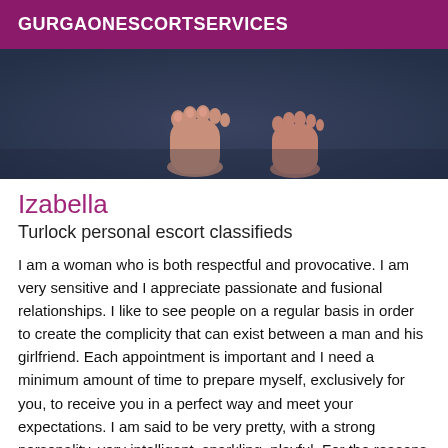GURGAONESCORTSERVICES
[Figure (photo): Close-up photo of bare feet on a dark blue/grey textured surface, shot from above]
Izabella
Turlock personal escort classifieds
I am a woman who is both respectful and provocative. I am very sensitive and I appreciate passionate and fusional relationships. I like to see people on a regular basis in order to create the complicity that can exist between a man and his girlfriend. Each appointment is important and I need a minimum amount of time to prepare myself, exclusively for you, to receive you in a perfect way and meet your expectations. I am said to be very pretty, with a strong personality, very intelligent, sparkling, playful. For the reasons I just mentioned, the feeling is very important. I am always waiting for you in a